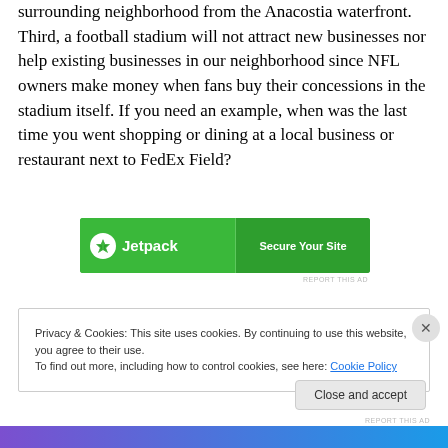surrounding neighborhood from the Anacostia waterfront. Third, a football stadium will not attract new businesses nor help existing businesses in our neighborhood since NFL owners make money when fans buy their concessions in the stadium itself. If you need an example, when was the last time you went shopping or dining at a local business or restaurant next to FedEx Field?
[Figure (other): Jetpack advertisement banner with green background showing bolt icon, 'Jetpack' text on left and 'Secure Your Site' text on right]
REPORT THIS AD
Privacy & Cookies: This site uses cookies. By continuing to use this website, you agree to their use.
To find out more, including how to control cookies, see here: Cookie Policy
Close and accept